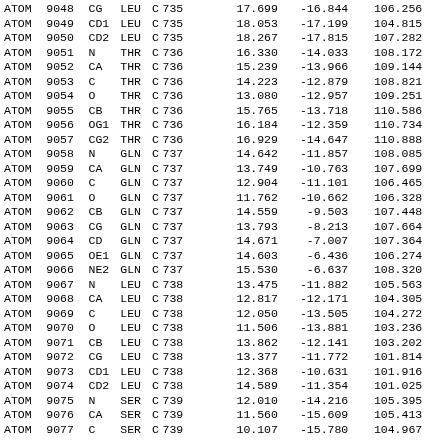| ATOM | 9048 | CG  | LEU | C | 735 | 17.699 | -16.844 | 106.256 |
| ATOM | 9049 | CD1 | LEU | C | 735 | 18.053 | -17.199 | 104.815 |
| ATOM | 9050 | CD2 | LEU | C | 735 | 18.267 | -17.815 | 107.282 |
| ATOM | 9051 | N   | THR | C | 736 | 16.330 | -14.033 | 108.172 |
| ATOM | 9052 | CA  | THR | C | 736 | 15.239 | -13.966 | 109.144 |
| ATOM | 9053 | C   | THR | C | 736 | 14.223 | -12.879 | 108.821 |
| ATOM | 9054 | O   | THR | C | 736 | 13.080 | -12.957 | 109.251 |
| ATOM | 9055 | CB  | THR | C | 736 | 15.765 | -13.718 | 110.586 |
| ATOM | 9056 | OG1 | THR | C | 736 | 16.184 | -12.359 | 110.734 |
| ATOM | 9057 | CG2 | THR | C | 736 | 16.929 | -14.647 | 110.888 |
| ATOM | 9058 | N   | GLN | C | 737 | 14.642 | -11.857 | 108.085 |
| ATOM | 9059 | CA  | GLN | C | 737 | 13.749 | -10.763 | 107.699 |
| ATOM | 9060 | C   | GLN | C | 737 | 12.904 | -11.101 | 106.465 |
| ATOM | 9061 | O   | GLN | C | 737 | 11.762 | -10.662 | 106.328 |
| ATOM | 9062 | CB  | GLN | C | 737 | 14.559 |  -9.503 | 107.448 |
| ATOM | 9063 | CG  | GLN | C | 737 | 13.793 |  -8.213 | 107.664 |
| ATOM | 9064 | CD  | GLN | C | 737 | 14.671 |  -7.007 | 107.364 |
| ATOM | 9065 | OE1 | GLN | C | 737 | 14.603 |  -6.436 | 106.274 |
| ATOM | 9066 | NE2 | GLN | C | 737 | 15.530 |  -6.637 | 108.320 |
| ATOM | 9067 | N   | LEU | C | 738 | 13.475 | -11.882 | 105.563 |
| ATOM | 9068 | CA  | LEU | C | 738 | 12.817 | -12.171 | 104.305 |
| ATOM | 9069 | C   | LEU | C | 738 | 12.050 | -13.505 | 104.272 |
| ATOM | 9070 | O   | LEU | C | 738 | 11.506 | -13.881 | 103.236 |
| ATOM | 9071 | CB  | LEU | C | 738 | 13.862 | -12.141 | 103.202 |
| ATOM | 9072 | CG  | LEU | C | 738 | 13.377 | -11.772 | 101.814 |
| ATOM | 9073 | CD1 | LEU | C | 738 | 12.368 | -10.631 | 101.916 |
| ATOM | 9074 | CD2 | LEU | C | 738 | 14.589 | -11.354 | 101.025 |
| ATOM | 9075 | N   | SER | C | 739 | 12.010 | -14.216 | 105.395 |
| ATOM | 9076 | CA  | SER | C | 739 | 11.560 | -15.609 | 105.413 |
| ATOM | 9077 | C   | SER | C | 739 | 10.107 | -15.780 | 104.967 |